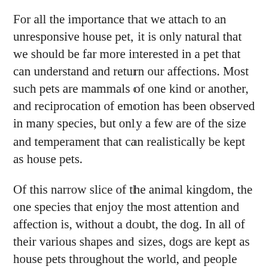For all the importance that we attach to an unresponsive house pet, it is only natural that we should be far more interested in a pet that can understand and return our affections. Most such pets are mammals of one kind or another, and reciprocation of emotion has been observed in many species, but only a few are of the size and temperament that can realistically be kept as house pets.
Of this narrow slice of the animal kingdom, the one species that enjoy the most attention and affection is, without a doubt, the dog. In all of their various shapes and sizes, dogs are kept as house pets throughout the world, and people have created an imposingly large pet care industry entirely focused on the care and enjoyment of our preferred pooches. Dogs by and large understand how devoted we are to them and return our feelings in a manner so consistent with our own emotional makeup that multiple psychological principles can be derived